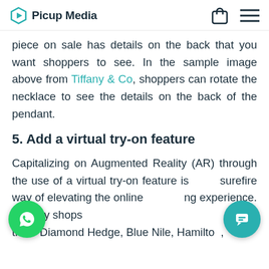Picup Media
piece on sale has details on the back that you want shoppers to see. In the sample image above from Tiffany & Co, shoppers can rotate the necklace to see the details on the back of the pendant.
5. Add a virtual try-on feature
Capitalizing on Augmented Reality (AR) through the use of a virtual try-on feature is a surefire way of elevating the online shopping experience. Jewelry shops like Diamond Hedge, Blue Nile, Hamilton,